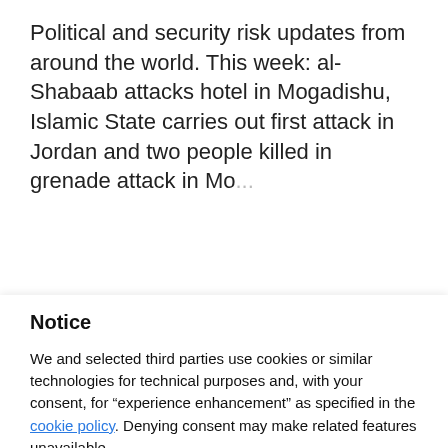Political and security risk updates from around the world. This week: al-Shabaab attacks hotel in Mogadishu, Islamic State carries out first attack in Jordan and two people killed in grenade attack in Mo...
Notice
We and selected third parties use cookies or similar technologies for technical purposes and, with your consent, for "experience enhancement" as specified in the cookie policy. Denying consent may make related features unavailable.
Use the "Accept" button to consent to the use of such technologies. Use the "Reject" button to continue without accepting.